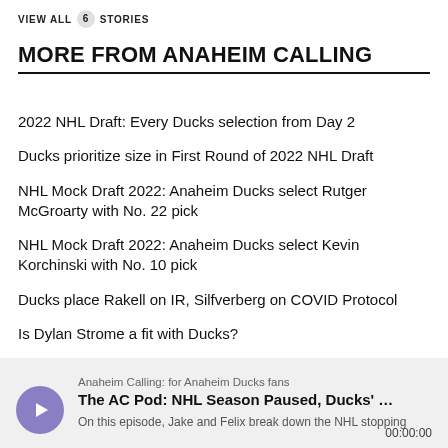VIEW ALL 6 STORIES
MORE FROM ANAHEIM CALLING
2022 NHL Draft: Every Ducks selection from Day 2
Ducks prioritize size in First Round of 2022 NHL Draft
NHL Mock Draft 2022: Anaheim Ducks select Rutger McGroarty with No. 22 pick
NHL Mock Draft 2022: Anaheim Ducks select Kevin Korchinski with No. 10 pick
Ducks place Rakell on IR, Silfverberg on COVID Protocol
Is Dylan Strome a fit with Ducks?
[Figure (other): Podcast player card: Anaheim Calling: for Anaheim Ducks fans. The AC Pod: NHL Season Paused, Ducks'... On this episode, Jake and Felix break down the NHL stopping. Time: 00:00:00]